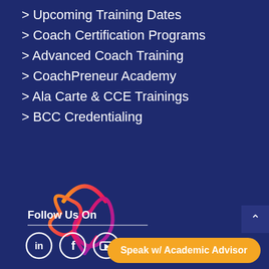> Upcoming Training Dates
> Coach Certification Programs
> Advanced Coach Training
> CoachPreneur Academy
> Ala Carte & CCE Trainings
> BCC Credentialing
[Figure (logo): CoachPreneur Academy logo — abstract interlocking heart/leaf shapes in orange-to-magenta gradient with a circular arc above]
Follow Us On
[Figure (illustration): Social media icons: LinkedIn, Facebook, YouTube in white circle outlines]
Speak w/ Academic Advisor